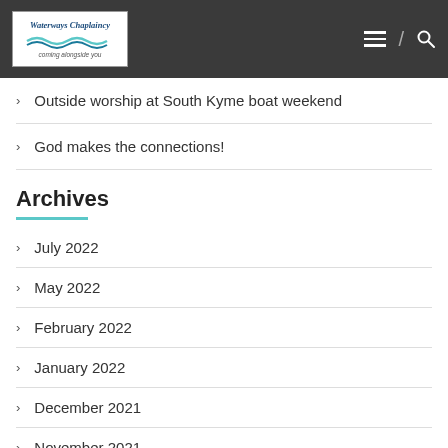[Figure (logo): Waterways Chaplaincy logo with wave graphic and text 'coming alongside you']
Outside worship at South Kyme boat weekend
God makes the connections!
Archives
July 2022
May 2022
February 2022
January 2022
December 2021
November 2021
September 2021